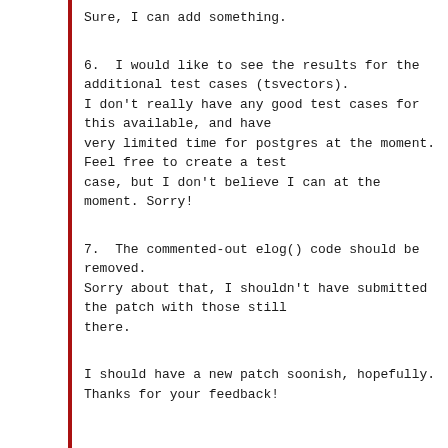Sure, I can add something.
6. I would like to see the results for the additional test cases (tsvectors).
I don't really have any good test cases for this available, and have
very limited time for postgres at the moment. Feel free to create a test
case, but I don't believe I can at the
moment. Sorry!
7. The commented-out elog() code should be removed.
Sorry about that, I shouldn't have submitted the patch with those still
there.
I should have a new patch soonish, hopefully.
Thanks for your feedback!